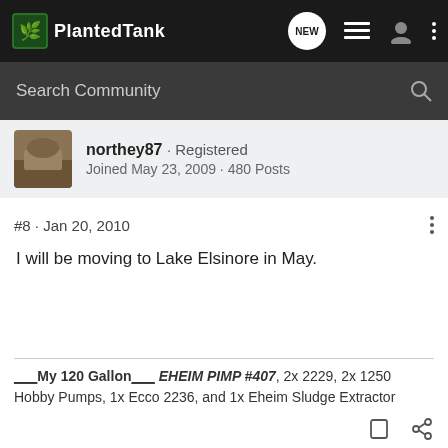PlantedTank
northey87 · Registered
Joined May 23, 2009 · 480 Posts
#8 · Jan 20, 2010
I will be moving to Lake Elsinore in May.
___My 120 Gallon___ EHEIM PIMP #407, 2x 2229, 2x 1250 Hobby Pumps, 1x Ecco 2236, and 1x Eheim Sludge Extractor